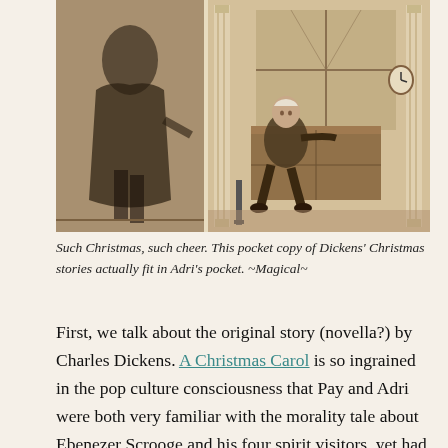[Figure (illustration): A vintage pen-and-ink style illustration showing two panels from Dickens' Christmas stories. Left panel shows a cloaked figure, right panel shows an elderly man seated at a desk in an ornate room with columns and a clock.]
Such Christmas, such cheer. This pocket copy of Dickens' Christmas stories actually fit in Adri's pocket. ~Magical~
First, we talk about the original story (novella?) by Charles Dickens. A Christmas Carol is so ingrained in the pop culture consciousness that Pay and Adri were both very familiar with the morality tale about Ebenezer Scrooge and his four spirit visitors, yet had never actually read it. But does the original hold up? Why is it that we all know about humbug and